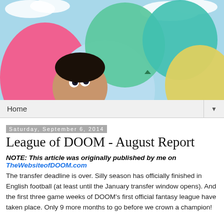[Figure (photo): A person's face barely visible peeking through colorful balloons (pink, blue, green, yellow) against a light blue sky with clouds background.]
Home
Saturday, September 6, 2014
League of DOOM - August Report
NOTE: This article was originally published by me on TheWebsiteofDOOM.com
The transfer deadline is over. Silly season has officially finished in English football (at least until the January transfer window opens). And the first three game weeks of DOOM's first official fantasy league have taken place. Only 9 more months to go before we crown a champion!